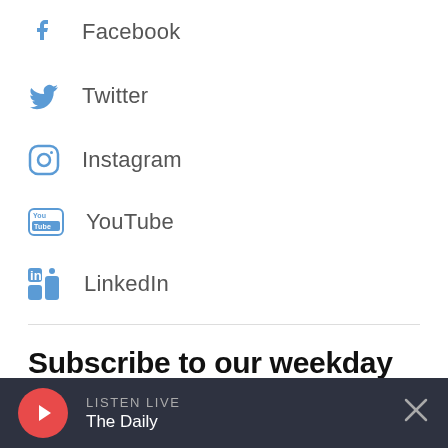Facebook
Twitter
Instagram
YouTube
LinkedIn
Subscribe to our weekday newsletter
Add WBUR to your morning routine
Your Email Address
LISTEN LIVE The Daily